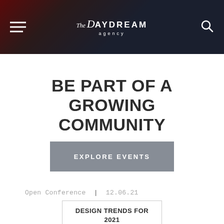The Daydream Agency — navigation header with hamburger menu and search icon
BE PART OF A GROWING COMMUNITY
EXPLORE EVENTS
Open Conference | 12.06.21
DESIGN TRENDS FOR 2021